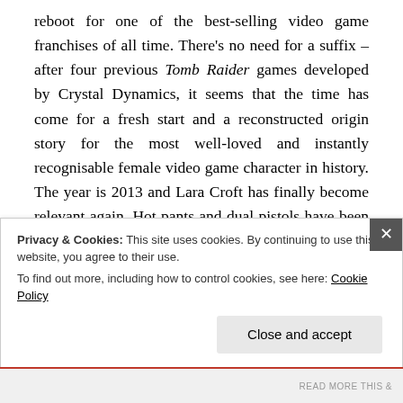reboot for one of the best-selling video game franchises of all time. There's no need for a suffix – after four previous Tomb Raider games developed by Crystal Dynamics, it seems that the time has come for a fresh start and a reconstructed origin story for the most well-loved and instantly recognisable female video game character in history. The year is 2013 and Lara Croft has finally become relevant again. Hot pants and dual pistols have been replaced by anguish, pain, a bow... and a pickaxe. From the wreckage of the ship Endurance, a
Privacy & Cookies: This site uses cookies. By continuing to use this website, you agree to their use.
To find out more, including how to control cookies, see here: Cookie Policy
Close and accept